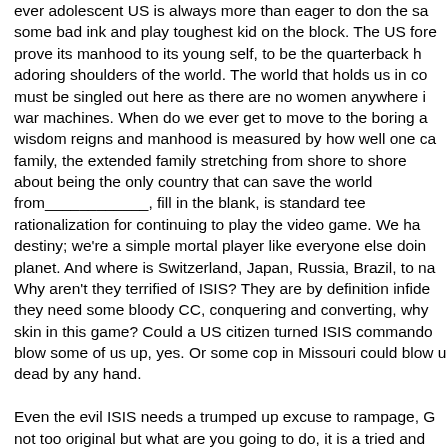ever adolescent US is always more than eager to don the sa some bad ink and play toughest kid on the block. The US fore prove its manhood to its young self, to be the quarterback h adoring shoulders of the world. The world that holds us in co must be singled out here as there are no women anywhere i war machines. When do we ever get to move to the boring a wisdom reigns and manhood is measured by how well one ca family, the extended family stretching from shore to shore about being the only country that can save the world from____________, fill in the blank, is standard tee rationalization for continuing to play the video game. We ha destiny; we're a simple mortal player like everyone else doin planet. And where is Switzerland, Japan, Russia, Brazil, to na Why aren't they terrified of ISIS? They are by definition infide they need some bloody CC, conquering and converting, why skin in this game? Could a US citizen turned ISIS commando blow some of us up, yes. Or some cop in Missouri could blow u dead by any hand.

Even the evil ISIS needs a trumped up excuse to rampage, G not too original but what are you going to do, it is a tried and Reduce temptation: we could just round up ALL the Americ